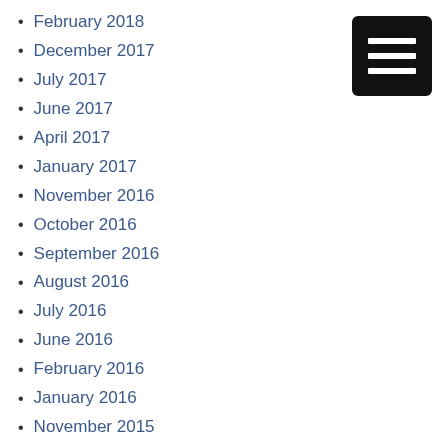February 2018
December 2017
July 2017
June 2017
April 2017
January 2017
November 2016
October 2016
September 2016
August 2016
July 2016
June 2016
February 2016
January 2016
November 2015
October 2015
July 2015
June 2015
March 2015
November 2014
[Figure (other): Hamburger menu icon button — black rounded rectangle with three white horizontal bars]